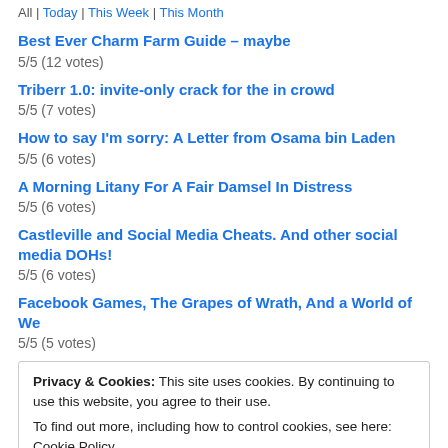All | Today | This Week | This Month
Best Ever Charm Farm Guide – maybe
5/5 (12 votes)
Triberr 1.0: invite-only crack for the in crowd
5/5 (7 votes)
How to say I'm sorry: A Letter from Osama bin Laden
5/5 (6 votes)
A Morning Litany For A Fair Damsel In Distress
5/5 (6 votes)
Castleville and Social Media Cheats. And other social media DOHs!
5/5 (6 votes)
Facebook Games, The Grapes of Wrath, And a World of We
5/5 (5 votes)
Privacy & Cookies: This site uses cookies. By continuing to use this website, you agree to their use.
To find out more, including how to control cookies, see here: Cookie Policy
Close and accept
5/5 (5 votes)